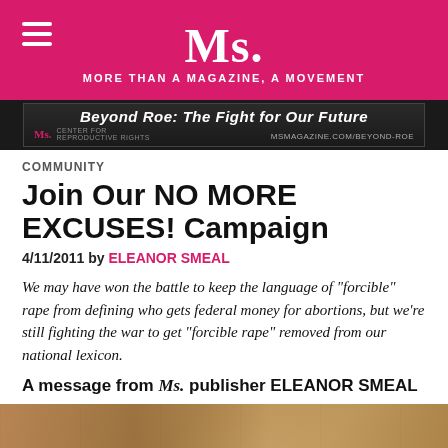Ms. MORE THAN A MAGAZINE, A MOVEMENT
[Figure (screenshot): Ms. Magazine / Center for Reproductive Rights ad banner: 'Beyond Roe: The Fight for Our Future' with msmagazine.com/beyond-roe URL]
COMMUNITY
Join Our NO MORE EXCUSES! Campaign
4/11/2011 by ELEANOR SMEAL
We may have won the battle to keep the language of “forcible” rape from defining who gets federal money for abortions, but we’re still fighting the war to get “forcible rape” removed from our national lexicon.
A message from Ms. publisher ELEANOR SMEAL
[Figure (photo): Photo of activists or event related to the NO MORE EXCUSES campaign]